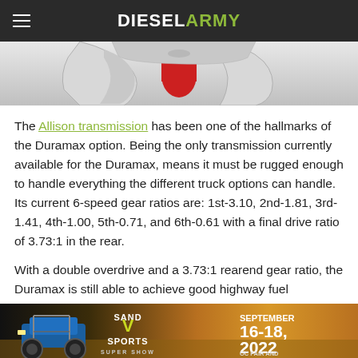Diesel Army
[Figure (photo): Partial view of silver and red mechanical component (likely an Allison transmission part) against a white/grey background]
The Allison transmission has been one of the hallmarks of the Duramax option. Being the only transmission currently available for the Duramax, means it must be rugged enough to handle everything the different truck options can handle. Its current 6-speed gear ratios are: 1st-3.10, 2nd-1.81, 3rd-1.41, 4th-1.00, 5th-0.71, and 6th-0.61 with a final drive ratio of 3.73:1 in the rear.
With a double overdrive and a 3.73:1 rearend gear ratio, the Duramax is still able to achieve good highway fuel economy. Of course if you are reading
[Figure (photo): Sand Sports Super Show advertisement banner: blue buggy on left, Sand Sports logo with yellow V in center, September 16-18 2022 OC Fair and Eventcenter on right]